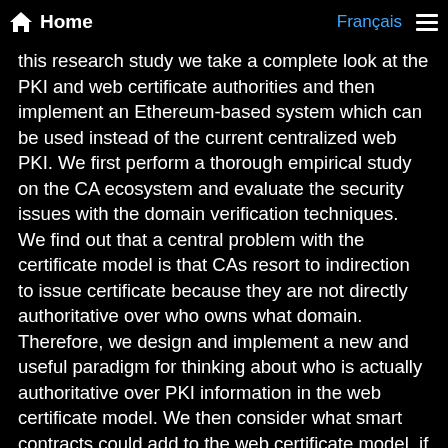Home  Français ☰
this research study we take a complete look at the PKI and web certificate authorities and then implement an Ethereum-based system which can be used instead of the current centralized web PKI. We first perform a thorough empirical study on the CA ecosystem and evaluate the security issues with the domain verification techniques. We find out that a central problem with the certificate model is that CAs resort to indirection to issue certificate because they are not directly authoritative over who owns what domain. Therefore, we design and implement a new and useful paradigm for thinking about who is actually authoritative over PKI information in the web certificate model. We then consider what smart contracts could add to the web certificate model, if we move beyond using a blockchain as passive, immutable (subject to consensus) store of data. To illustrate the potential, we develop and experiment with an